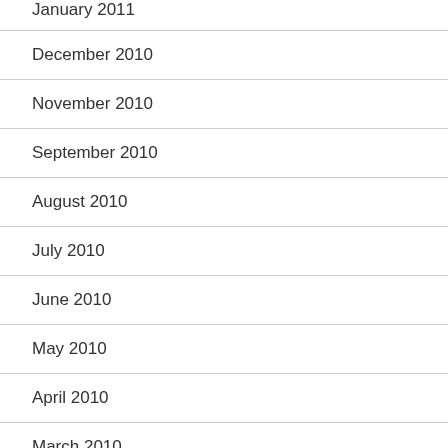January 2011 (partial, top cut off)
December 2010
November 2010
September 2010
August 2010
July 2010
June 2010
May 2010
April 2010
March 2010
February 2010
January 2010 (partial, bottom cut off)